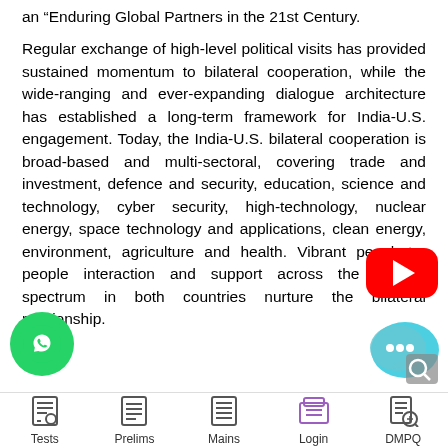an “Enduring Global Partners in the 21st Century.
Regular exchange of high-level political visits has provided sustained momentum to bilateral cooperation, while the wide-ranging and ever-expanding dialogue architecture has established a long-term framework for India-U.S. engagement. Today, the India-U.S. bilateral cooperation is broad-based and multi-sectoral, covering trade and investment, defence and security, education, science and technology, cyber security, high-technology, nuclear energy, space technology and applications, clean energy, environment, agriculture and health. Vibrant people-to-people interaction and support across the political spectrum in both countries nurture the bilateral relationship.
Tests  Prelims  Mains  Login  DMPQ